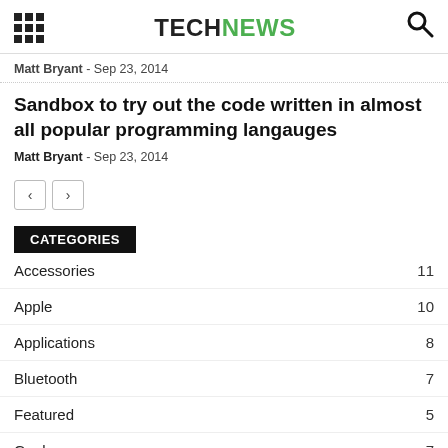TECHNEWS
Matt Bryant  -  Sep 23, 2014
Sandbox to try out the code written in almost all popular programming langauges
Matt Bryant  -  Sep 23, 2014
CATEGORIES
Accessories  11
Apple  10
Applications  8
Bluetooth  7
Featured  5
Geeks  7